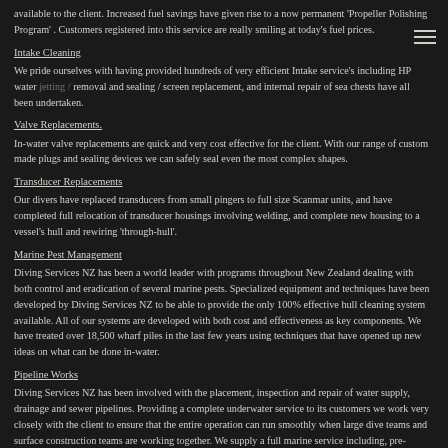available to the client. Increased fuel savings have given rise to a now permanent 'Propeller Polishing Program'. Customers registered into this service are really smiling at today's fuel prices.
Intake Cleaning
We pride ourselves with having provided hundreds of very efficient Intake service's including HP water jetting / removal and sealing / screen replacement, and internal repair of sea chests have all been undertaken.
Valve Replacements.
In-water valve replacements are quick and very cost effective for the client. With our range of custom made plugs and sealing devices we can safely seal even the most complex shapes.
Transducer Replacements
Our divers have replaced transducers from small pingers to full size Scanmar units, and have completed full relocation of transducer housings involving welding, and complete new housing to a vessel's hull and rewiring 'through-hull'.
Marine Pest Management
Diving Services NZ has been a world leader with programs throughout New Zealand dealing with both control and eradication of several marine pests. Specialized equipment and techniques have been developed by Diving Services NZ to be able to provide the only 100% effective hull cleaning system available. All of our systems are developed with both cost and effectiveness as key components. We have treated over 18,500 wharf piles in the last few years using techniques that have opened up new ideas on what can be done in-water.
Pipeline Works
Diving Services NZ has been involved with the placement, inspection and repair of water supply, drainage and sewer pipelines. Providing a complete underwater service to its customers we work very closely with the client to ensure that the entire operation can run smoothly when large dive teams and surface construction teams are working together. We supply a full marine service including, pre-inspections, consulting, site prep and installation works. We have maintained and serviced diffuser pipestrings using custom made HP jetting equipment. Diving Services NZ owns an underwater pipeline inspection camera that can 'fly' up into pipestrings over 300mm, ID up to 150 mtrs depth and to date, 350mtrs into pipe .
Screw Anchor Installation
Diving Services NZ owns it's own custom-built screw anchor rig capable of setting helical screw anchors at water